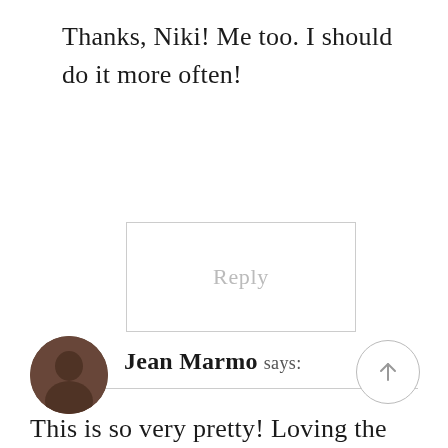Thanks, Niki! Me too. I should do it more often!
[Figure (other): Reply button — rectangular button with light grey border and grey 'Reply' text]
[Figure (other): Thin horizontal divider line]
[Figure (photo): Circular avatar photo of Jean Marmo]
Jean Marmo says:
[Figure (other): Circular up-arrow scroll-to-top button]
This is so very pretty! Loving the